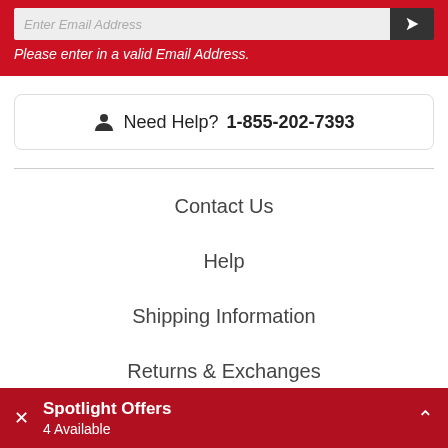Please enter in a valid Email Address.
Need Help? 1-855-202-7393
Contact Us
Help
Shipping Information
Returns & Exchanges
Spotlight Offers 4 Available
Request A Catalog